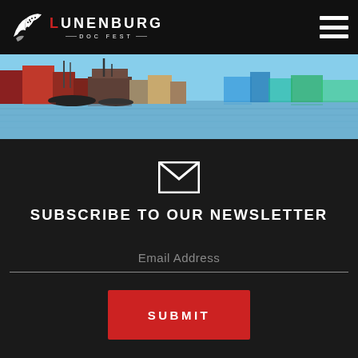LUNENBURG DOC FEST
[Figure (photo): Lunenburg harbour waterfront with colourful buildings and boats reflected in the water]
[Figure (other): Envelope/mail icon]
SUBSCRIBE TO OUR NEWSLETTER
Email Address
SUBMIT